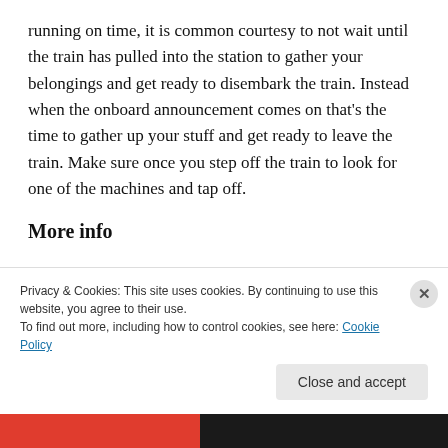running on time, it is common courtesy to not wait until the train has pulled into the station to gather your belongings and get ready to disembark the train. Instead when the onboard announcement comes on that's the time to gather up your stuff and get ready to leave the train. Make sure once you step off the train to look for one of the machines and tap off.
More info
If you are considering riding the SunRail, quit stalling and hop on board. I highly recommend it! There is a
Privacy & Cookies: This site uses cookies. By continuing to use this website, you agree to their use.
To find out more, including how to control cookies, see here: Cookie Policy
Close and accept